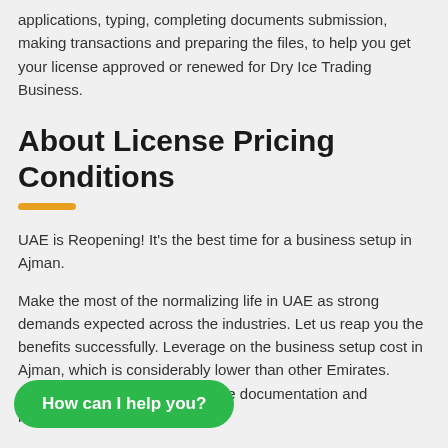applications, typing, completing documents submission, making transactions and preparing the files, to help you get your license approved or renewed for Dry Ice Trading Business.
About License Pricing Conditions
UAE is Reopening! It’s the best time for a business setup in Ajman.
Make the most of the normalizing life in UAE as strong demands expected across the industries. Let us reap you the benefits successfully. Leverage on the business setup cost in Ajman, which is considerably lower than other Emirates. Invest and s setup with complete documentation and regulatory compliance.
How can I help you?